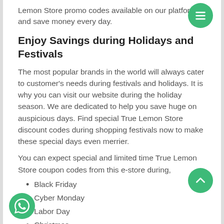Lemon Store promo codes available on our platform and save money every day.
Enjoy Savings during Holidays and Festivals
The most popular brands in the world will always cater to customer's needs during festivals and holidays. It is why you can visit our website during the holiday season. We are dedicated to help you save huge on auspicious days. Find special True Lemon Store discount codes during shopping festivals now to make these special days even merrier.
You can expect special and limited time True Lemon Store coupon codes from this e-store during,
Black Friday
Cyber Monday
Labor Day
Christmas
Remember, by using promo discount codes on this site if...